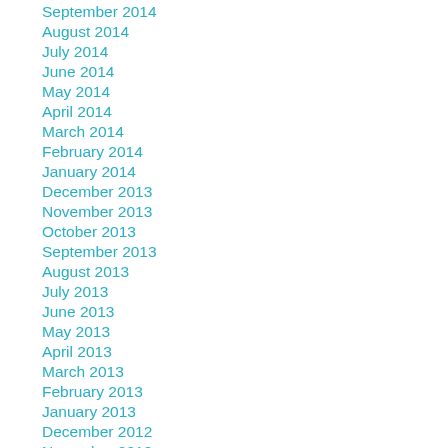September 2014
August 2014
July 2014
June 2014
May 2014
April 2014
March 2014
February 2014
January 2014
December 2013
November 2013
October 2013
September 2013
August 2013
July 2013
June 2013
May 2013
April 2013
March 2013
February 2013
January 2013
December 2012
November 2012
October 2012
September 2012
August 2012